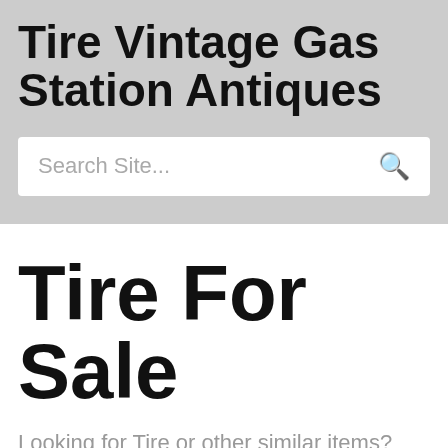Tire Vintage Gas Station Antiques
[Figure (screenshot): Search bar with placeholder text 'Search Site...' and a search icon on the right]
Tire For Sale
Looking for Tire or other similar items?